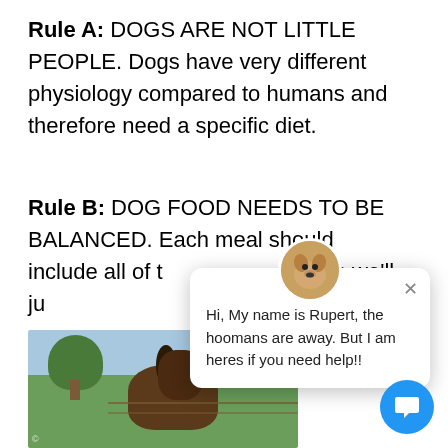Rule A: DOGS ARE NOT LITTLE PEOPLE. Dogs have very different physiology compared to humans and therefore need a specific diet.
Rule B: DOG FOOD NEEDS TO BE BALANCED. Each meal should include all of t[he nutrients,] which we'll ju[st cover...]
[Figure (photo): Photo of a horse standing at a fence with trees and blue sky in the background]
Hi, My name is Rupert, the hoomans are away. But I am heres if you need help!!